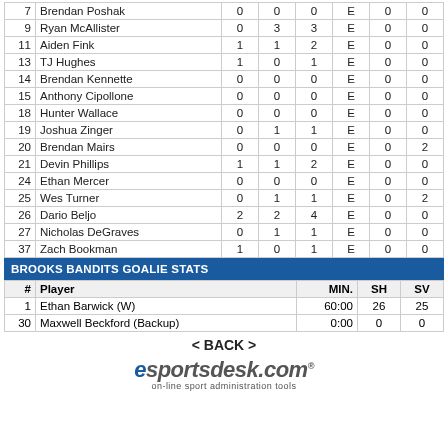| # | Player | G | A | PTS | +/- | PP | PIM |
| --- | --- | --- | --- | --- | --- | --- | --- |
| 7 | Brendan Poshak | 0 | 0 | 0 | E | 0 | 0 |
| 9 | Ryan McAllister | 0 | 3 | 3 | E | 0 | 0 |
| 11 | Aiden Fink | 1 | 1 | 2 | E | 0 | 0 |
| 13 | TJ Hughes | 1 | 0 | 1 | E | 0 | 0 |
| 14 | Brendan Kennette | 0 | 0 | 0 | E | 0 | 0 |
| 15 | Anthony Cipollone | 0 | 0 | 0 | E | 0 | 0 |
| 18 | Hunter Wallace | 0 | 0 | 0 | E | 0 | 0 |
| 19 | Joshua Zinger | 0 | 1 | 1 | E | 0 | 0 |
| 20 | Brendan Mairs | 0 | 0 | 0 | E | 0 | 2 |
| 21 | Devin Phillips | 1 | 1 | 2 | E | 0 | 0 |
| 24 | Ethan Mercer | 0 | 0 | 0 | E | 0 | 0 |
| 25 | Wes Turner | 0 | 1 | 1 | E | 0 | 2 |
| 26 | Dario Beljo | 2 | 2 | 4 | E | 0 | 0 |
| 27 | Nicholas DeGraves | 0 | 1 | 1 | E | 0 | 0 |
| 37 | Zach Bookman | 1 | 0 | 1 | E | 0 | 0 |
BROOKS BANDITS GOALIE STATS
| # | Player | MIN. | SH | SV |
| --- | --- | --- | --- | --- |
| 1 | Ethan Barwick (W) | 60:00 | 26 | 25 |
| 30 | Maxwell Beckford (Backup) | 0:00 | 0 | 0 |
< BACK >
[Figure (logo): esportsdesk.com logo with tagline 'on-line sport administration tools']